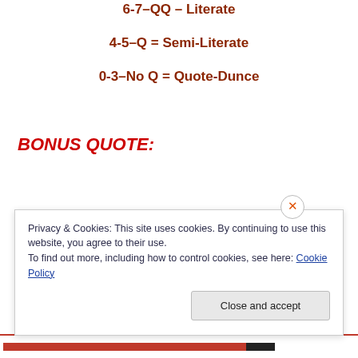6-7–QQ – Literate
4-5–Q = Semi-Literate
0-3–No Q = Quote-Dunce
BONUS QUOTE:
Privacy & Cookies: This site uses cookies. By continuing to use this website, you agree to their use.
To find out more, including how to control cookies, see here: Cookie Policy
Close and accept